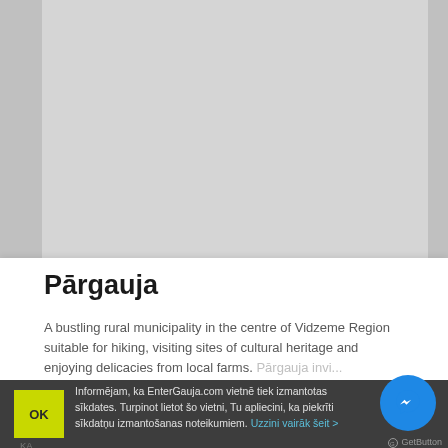[Figure (map): A light grey map background showing a geographic region, partially visible with left and right darker sidebar strips.]
Pārgauja
A bustling rural municipality in the centre of Vidzeme Region suitable for hiking, visiting sites of cultural heritage and enjoying delicacies from local farms. Pārgauja invi...
Informējam, ka EnterGauja.com vietnē tiek izmantotas sīkdates. Turpinot lietot šo vietni, Tu apliecini, ka piekrīti sīkdatņu izmantošanas noteikumiem. Uzzini vairāk šeit >